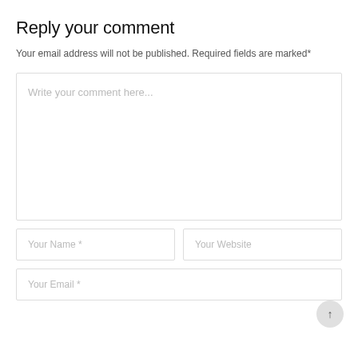Reply your comment
Your email address will not be published. Required fields are marked*
[Figure (screenshot): A comment form with a large textarea placeholder 'Write your comment here...', two input fields side by side labeled 'Your Name *' and 'Your Website', and a third input field labeled 'Your Email *'. A scroll-to-top button is visible at the bottom right.]